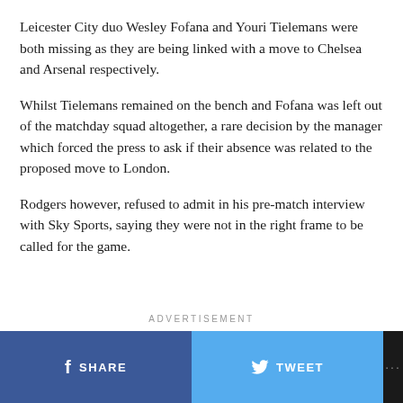Leicester City duo Wesley Fofana and Youri Tielemans were both missing as they are being linked with a move to Chelsea and Arsenal respectively.
Whilst Tielemans remained on the bench and Fofana was left out of the matchday squad altogether, a rare decision by the manager which forced the press to ask if their absence was related to the proposed move to London.
Rodgers however, refused to admit in his pre-match interview with Sky Sports, saying they were not in the right frame to be called for the game.
ADVERTISEMENT
SHARE   TWEET   ...